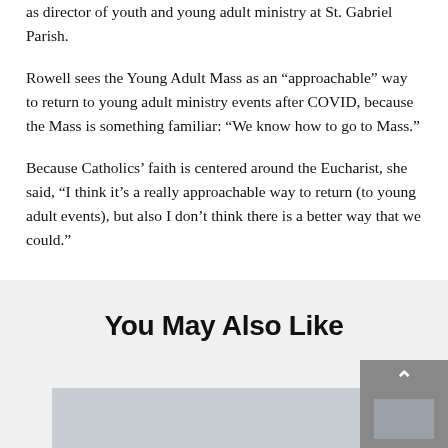as director of youth and young adult ministry at St. Gabriel Parish.
Rowell sees the Young Adult Mass as an “approachable” way to return to young adult ministry events after COVID, because the Mass is something familiar: “We know how to go to Mass.”
Because Catholics’ faith is centered around the Eucharist, she said, “I think it’s a really approachable way to return (to young adult events), but also I don’t think there is a better way that we could.”
You May Also Like
[Figure (photo): Partial thumbnail image visible at bottom of page, appears to be an outdoor/nature photo]